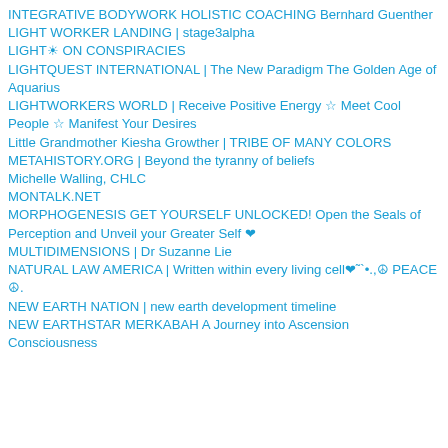INTEGRATIVE BODYWORK HOLISTIC COACHING Bernhard Guenther
LIGHT WORKER LANDING | stage3alpha
LIGHT☀ ON CONSPIRACIES
LIGHTQUEST INTERNATIONAL | The New Paradigm The Golden Age of Aquarius
LIGHTWORKERS WORLD | Receive Positive Energy ☆ Meet Cool People ☆ Manifest Your Desires
Little Grandmother Kiesha Growther | TRIBE OF MANY COLORS
METAHISTORY.ORG | Beyond the tyranny of beliefs
Michelle Walling, CHLC
MONTALK.NET
MORPHOGENESIS GET YOURSELF UNLOCKED! Open the Seals of Perception and Unveil your Greater Self ❤
MULTIDIMENSIONS | Dr Suzanne Lie
NATURAL LAW AMERICA | Written within every living cell❤˜`•.,☮ PEACE ☮.
NEW EARTH NATION | new earth development timeline
NEW EARTHSTAR MERKABAH A Journey into Ascension Consciousness